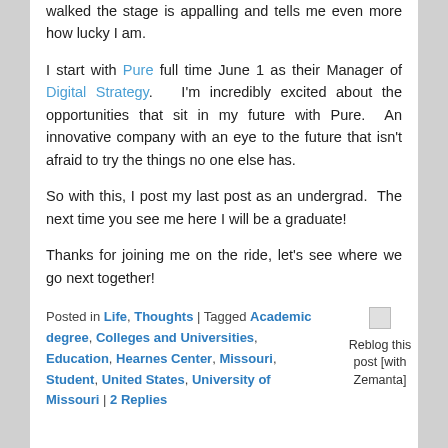walked the stage is appalling and tells me even more how lucky I am.
I start with Pure full time June 1 as their Manager of Digital Strategy. I'm incredibly excited about the opportunities that sit in my future with Pure. An innovative company with an eye to the future that isn't afraid to try the things no one else has.
So with this, I post my last post as an undergrad. The next time you see me here I will be a graduate!
Thanks for joining me on the ride, let's see where we go next together!
Posted in Life, Thoughts | Tagged Academic degree, Colleges and Universities, Education, Hearnes Center, Missouri, Student, United States, University of Missouri | 2 Replies
[Figure (other): Reblog this post [with Zemanta] button/widget]